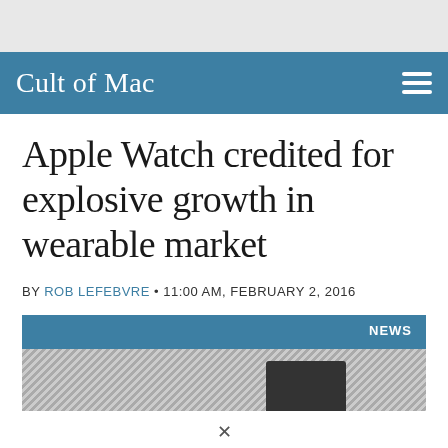Cult of Mac
Apple Watch credited for explosive growth in wearable market
BY ROB LEFEBVRE • 11:00 AM, FEBRUARY 2, 2016
[Figure (photo): News article header image with NEWS badge in upper right, showing partial view of Apple Watch on wrist over textured gray background]